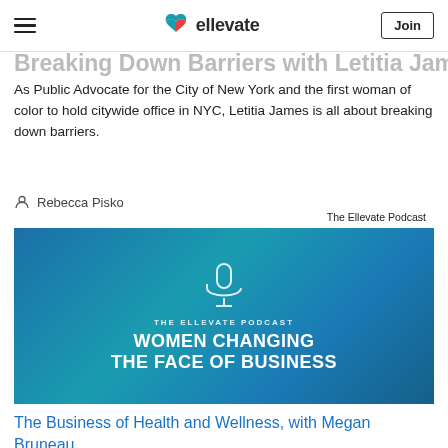Ellevate – Breaking Down Barriers with Letitia James – Join
Breaking Down Barriers with Letitia James
As Public Advocate for the City of New York and the first woman of color to hold citywide office in NYC, Letitia James is all about breaking down barriers.
Rebecca Pisko
[Figure (photo): The Ellevate Podcast promotional image showing two women in conversation, with text 'THE ELLEVATE PODCAST WOMEN CHANGING THE FACE OF BUSINESS' and a microphone icon on a blue background. Label reads 'The Ellevate Podcast'.]
The Business of Health and Wellness, with Megan Bruneau